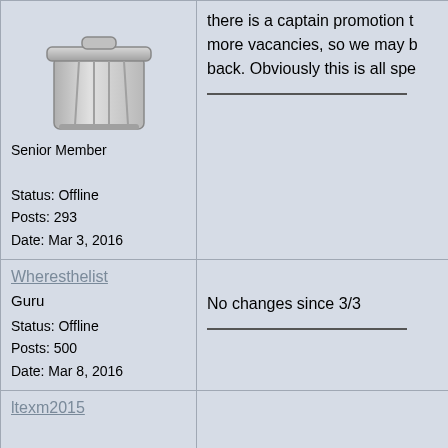[Figure (illustration): Trash can / basket icon, grayscale]
Senior Member

Status: Offline
Posts: 293
Date: Mar 3, 2016
there is a captain promotion t... more vacancies, so we may b... back. Obviously this is all spe...
Wheresthelist

Guru

Status: Offline
Posts: 500
Date: Mar 8, 2016
No changes since 3/3
ltexm2015

Veteran Member

Status: Offline
Posts: 78
wheres the list....do you know LIEUTENANT special assign w...